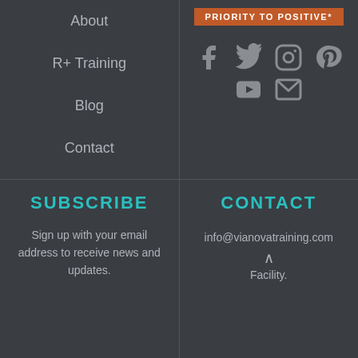About
R+ Training
Blog
Contact
[Figure (logo): Orange banner with text PRIORITY TO POSITIVE* in white uppercase letters]
[Figure (infographic): Social media icons: Facebook, Twitter, Instagram, Pinterest, YouTube, Email in two rows]
SUBSCRIBE
Sign up with your email address to receive news and updates.
CONTACT
info@vianovatraining.com
Facility.